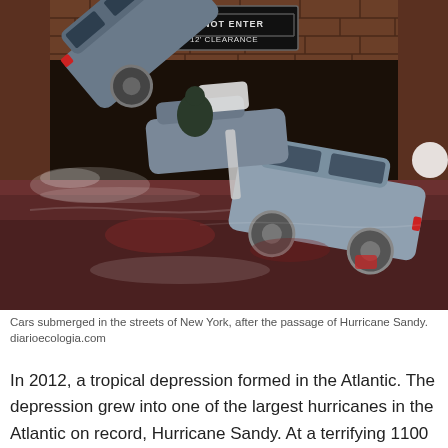[Figure (photo): Cars submerged and piled up in floodwaters in the streets of New York after Hurricane Sandy. A brick wall is visible in the background with a 'DO NOT ENTER / 12' CLEARANCE' sign. The floodwater is dark brownish-red. One car is nearly vertical, another is tilted sideways, and a third is submerged.]
Cars submerged in the streets of New York, after the passage of Hurricane Sandy. diarioecologia.com
In 2012, a tropical depression formed in the Atlantic. The depression grew into one of the largest hurricanes in the Atlantic on record, Hurricane Sandy. At a terrifying 1100 miles across, the hurricane swept across North and South America, causing the most damage from a hurricane since Katrina hit.